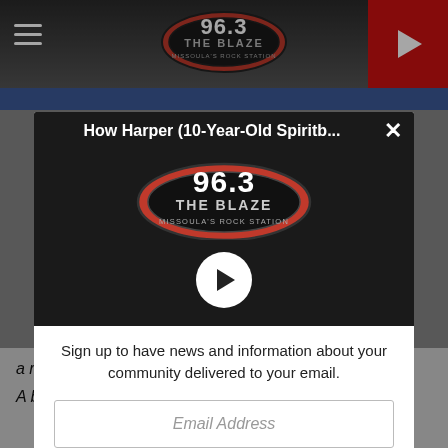[Figure (screenshot): Website header with 96.3 The Blaze radio station logo, hamburger menu icon, and red play button]
[Figure (screenshot): Modal popup with black background showing 96.3 The Blaze logo with a play button circle, title 'How Harper (10-Year-Old Spiritb...' and close X button]
Sign up to have news and information about your community delivered to your email.
Email Address
Like Us On Facebook
a raised platform (board) with a hole in the far end.
A bag in the hole scores 3 points, while one on the